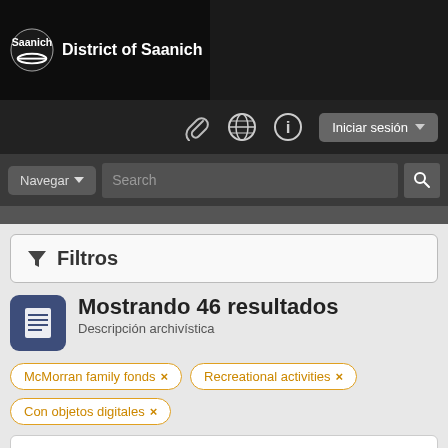[Figure (logo): Saanich District of Saanich logo in black header bar]
[Figure (screenshot): Navigation icons: paperclip, globe, info, and Iniciar sesión login button]
[Figure (screenshot): Navigation bar with Navegar dropdown and Search input with search button]
Filtros
Mostrando 46 resultados
Descripción archivística
McMorran family fonds ×
Recreational activities ×
Con objetos digitales ×
Opciones avanzadas de búsqueda
Ver